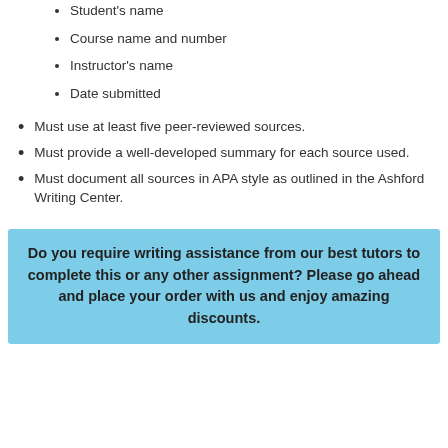Student's name
Course name and number
Instructor's name
Date submitted
Must use at least five peer-reviewed sources.
Must provide a well-developed summary for each source used.
Must document all sources in APA style as outlined in the Ashford Writing Center.
Do you require writing assistance from our best tutors to complete this or any other assignment? Please go ahead and place your order with us and enjoy amazing discounts.